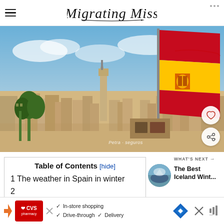Migrating Miss
[Figure (photo): Aerial/rooftop view of a Spanish city (likely Seville) with a large waving Spanish flag in the foreground right, blue sky with clouds, cityscape with cathedral tower and palm trees below. Watermark reads 'Petra seguros'.]
Table of Contents [hide]
1 The weather in Spain in winter
2
WHAT'S NEXT → The Best Iceland Wint...
[Figure (photo): Small circular thumbnail of Iceland winter scene for 'What's Next' sidebar widget]
[Figure (other): CVS Pharmacy advertisement banner: In-store shopping, Drive-through, Delivery options with navigation icon]